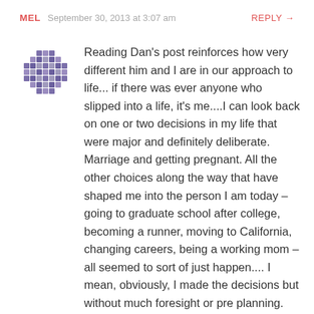MEL   September 30, 2013 at 3:07 am   REPLY →
[Figure (illustration): Purple/blue pixelated diamond-pattern avatar icon]
Reading Dan's post reinforces how very different him and I are in our approach to life... if there was ever anyone who slipped into a life, it's me....I can look back on one or two decisions in my life that were major and definitely deliberate. Marriage and getting pregnant. All the other choices along the way that have shaped me into the person I am today – going to graduate school after college, becoming a runner, moving to California, changing careers, being a working mom – all seemed to sort of just happen.... I mean, obviously, I made the decisions but without much foresight or pre planning. My evolution from being raised with my insanely intelligent brother by entrepreneur, hard right, world traveling parents in the foothills Colorado to a